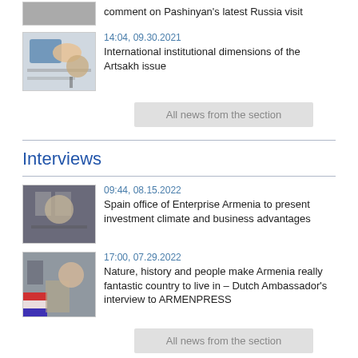comment on Pashinyan's latest Russia visit
14:04, 09.30.2021
International institutional dimensions of the Artsakh issue
All news from the section
Interviews
09:44, 08.15.2022
Spain office of Enterprise Armenia to present investment climate and business advantages
17:00, 07.29.2022
Nature, history and people make Armenia really fantastic country to live in – Dutch Ambassador's interview to ARMENPRESS
All news from the section